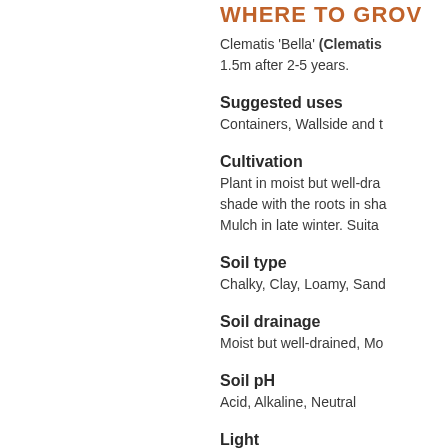WHERE TO GROW
Clematis 'Bella' (Clematis ... 1.5m after 2-5 years.
Suggested uses
Containers, Wallside and t...
Cultivation
Plant in moist but well-dra... shade with the roots in sha... Mulch in late winter. Suita...
Soil type
Chalky, Clay, Loamy, Sand...
Soil drainage
Moist but well-drained, Mo...
Soil pH
Acid, Alkaline, Neutral
Light
Partial Shade, Full Sun
Aspect